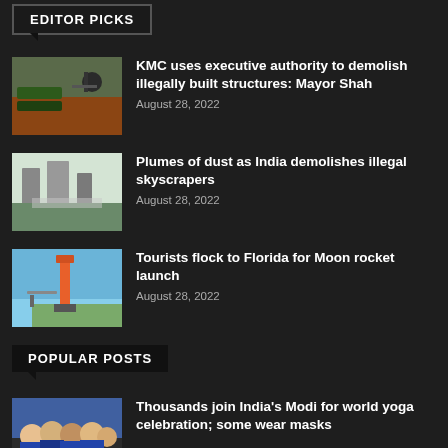EDITOR PICKS
[Figure (photo): News thumbnail image - person on monument with street signs]
KMC uses executive authority to demolish illegally built structures: Mayor Shah
August 28, 2022
[Figure (photo): News thumbnail image - dusty skyline with buildings]
Plumes of dust as India demolishes illegal skyscrapers
August 28, 2022
[Figure (photo): News thumbnail image - rocket on launch pad]
Tourists flock to Florida for Moon rocket launch
August 28, 2022
POPULAR POSTS
[Figure (photo): News thumbnail image - people doing yoga in crowd]
Thousands join India's Modi for world yoga celebration; some wear masks